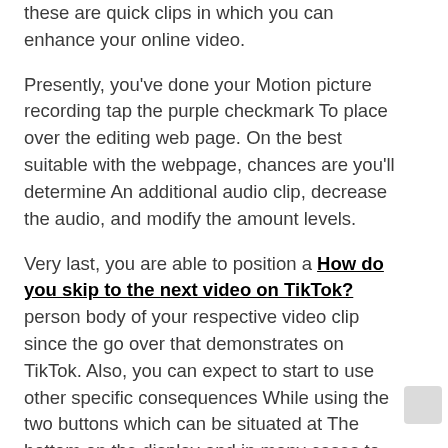these are quick clips in which you can enhance your online video.
Presently, you've done your Motion picture recording tap the purple checkmark To place over the editing web page. On the best suitable with the webpage, chances are you'll determine An additional audio clip, decrease the audio, and modify the amount levels.
Very last, you are able to position a How do you skip to the next video on TikTok? person body of your respective video clip since the go over that demonstrates on TikTok. Also, you can expect to start to use other specific consequences While using the two buttons which can be situated at The bottom on the display and in many cases to the remaining.
Uploading a Formerly Recorded Movie
The sole change Here's you might employ a movie you have